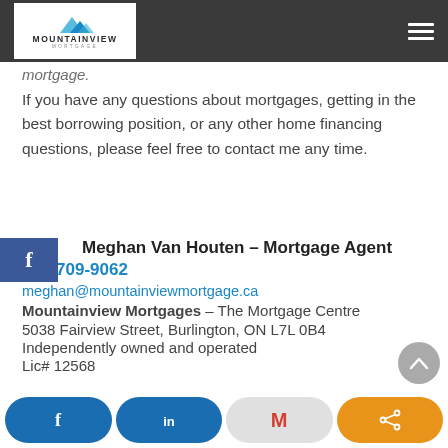[Figure (logo): Mountainview Mortgage logo with mountain icon and text on white background, inside dark navigation bar]
mortgage.
If you have any questions about mortgages, getting in the best borrowing position, or any other home financing questions, please feel free to contact me any time.
Meghan Van Houten – Mortgage Agent
416-709-9062
meghan@mountainviewmortgage.ca
Mountainview Mortgages – The Mortgage Centre
5038 Fairview Street, Burlington, ON L7L 0B4
Independently owned and operated
Lic# 12568